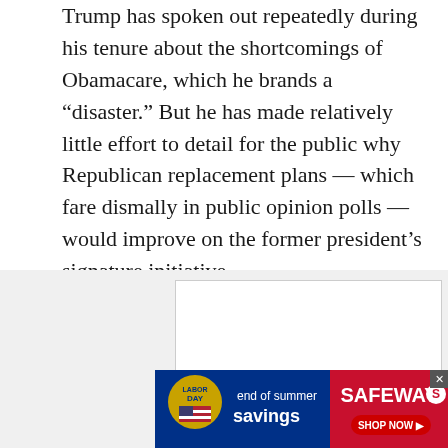Trump has spoken out repeatedly during his tenure about the shortcomings of Obamacare, which he brands a “disaster.” But he has made relatively little effort to detail for the public why Republican replacement plans — which fare dismally in public opinion polls — would improve on the former president’s signature initiative.
The lackluster sales job, combined with recent controversial tweets and public statements targeting the media, has diminished the focus on the president’s leading legislative priority at a key juncture in the Senate, allies and analysts say.
[Figure (other): Safeway 'end of summer savings' advertisement banner with Labor Day branding on a dark blue background and red Safeway logo section with 'SHOP NOW' button]